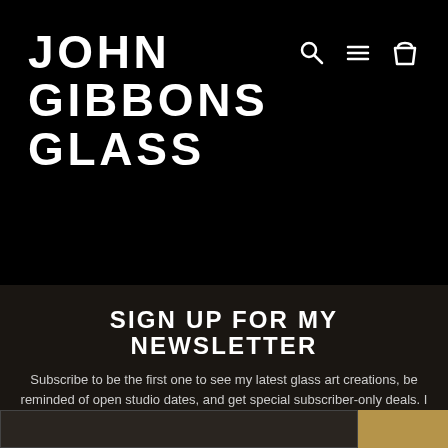JOHN GIBBONS GLASS
[Figure (infographic): Navigation icons: search (magnifying glass), menu (hamburger lines), cart (shopping bag)]
SIGN UP FOR MY NEWSLETTER
Subscribe to be the first one to see my latest glass art creations, be reminded of open studio dates, and get special subscriber-only deals. I send about 4 emails a year.